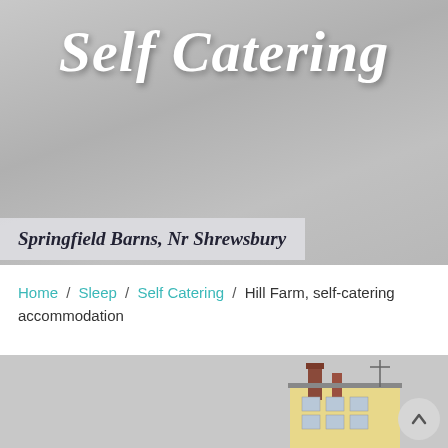[Figure (photo): Gray gradient hero banner background for a self-catering accommodation website]
Self Catering
Springfield Barns, Nr Shrewsbury
Home / Sleep / Self Catering / Hill Farm, self-catering accommodation
[Figure (photo): Partial photo of a building roofline with chimneys against a gray sky, with a scroll-up arrow button overlay]